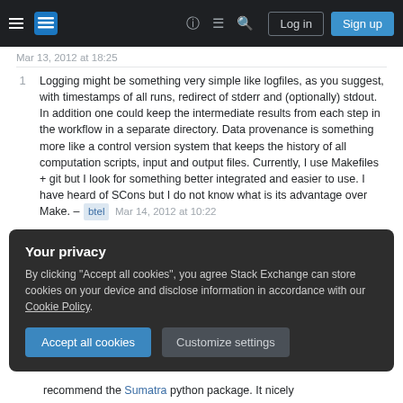Stack Exchange navigation bar with hamburger menu, logo, help, chat, search icons, Log in and Sign up buttons
Mar 13, 2012 at 18:25
1  Logging might be something very simple like logfiles, as you suggest, with timestamps of all runs, redirect of stderr and (optionally) stdout. In addition one could keep the intermediate results from each step in the workflow in a separate directory. Data provenance is something more like a control version system that keeps the history of all computation scripts, input and output files. Currently, I use Makefiles + git but I look for something better integrated and easier to use. I have heard of SCons but I do not know what is its advantage over Make. – btel  Mar 14, 2012 at 10:22
Your privacy
By clicking "Accept all cookies", you agree Stack Exchange can store cookies on your device and disclose information in accordance with our Cookie Policy.
Accept all cookies   Customize settings
recommend the Sumatra python package. It nicely